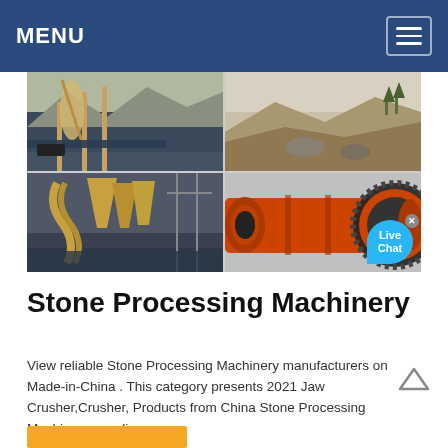MENU
[Figure (photo): Four-panel image grid showing stone processing machinery: industrial processing plant with dust collectors and conveyor systems (top-left), quarry/mining excavation site landscape (top-right), industrial processing facility interior with large yellow hoppers and spiral ducts (bottom-left), large orange ball mill machinery with gear wheel (bottom-right). A 'Live Chat' bubble is overlaid on the bottom-right image.]
Stone Processing Machinery
View reliable Stone Processing Machinery manufacturers on Made-in-China . This category presents 2021 Jaw Crusher,Crusher, Products from China Stone Processing Machinery suppliers.